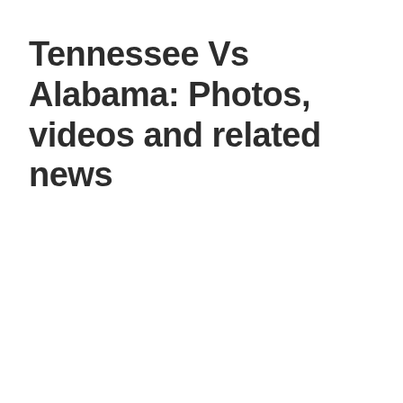Tennessee Vs Alabama: Photos, videos and related news